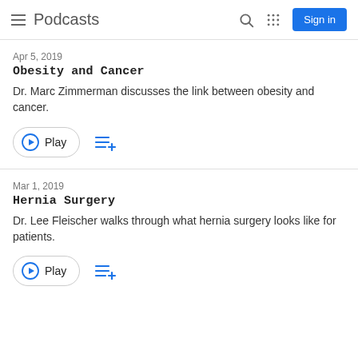Podcasts
Apr 5, 2019
Obesity and Cancer
Dr. Marc Zimmerman discusses the link between obesity and cancer.
Mar 1, 2019
Hernia Surgery
Dr. Lee Fleischer walks through what hernia surgery looks like for patients.